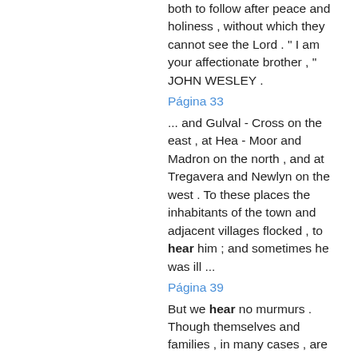both to follow after peace and holiness , without which they cannot see the Lord . " I am your affectionate brother , " JOHN WESLEY .
Página 33
... and Gulval - Cross on the east , at Hea - Moor and Madron on the north , and at Tregavera and Newlyn on the west . To these places the inhabitants of the town and adjacent villages flocked , to hear him ; and sometimes he was ill ...
Página 39
But we hear no murmurs . Though themselves and families , in many cases , are literally wanting bread , poverty and